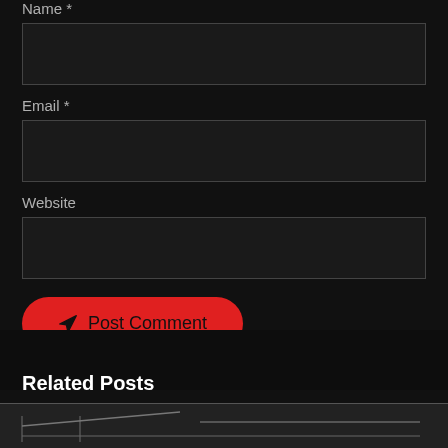Name *
[Figure (screenshot): Empty text input field for Name]
Email *
[Figure (screenshot): Empty text input field for Email]
Website
[Figure (screenshot): Empty text input field for Website]
[Figure (screenshot): Post Comment button in red with send/arrow icon]
Related Posts
[Figure (photo): Partial photo strip at bottom of page showing dark image]